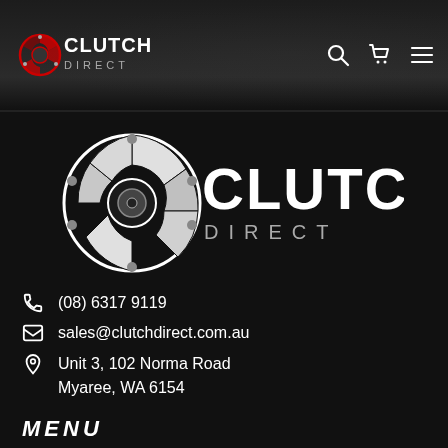Clutch Direct — Navigation header with logo, search, cart, and menu icons
[Figure (logo): Clutch Direct logo — large white text CLUTCH DIRECT with stylized clutch disc graphic, on black background]
(08) 6317 9119
sales@clutchdirect.com.au
Unit 3, 102 Norma Road
Myaree, WA 6154
MENU